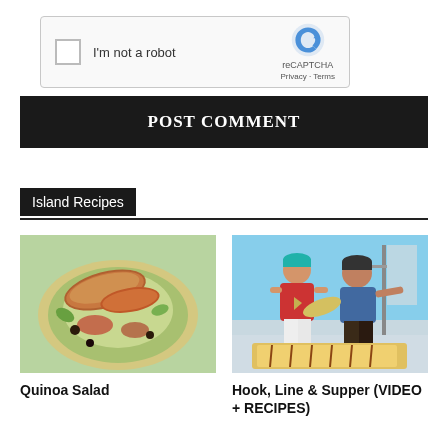[Figure (screenshot): reCAPTCHA widget with checkbox labeled 'I'm not a robot' and reCAPTCHA logo with Privacy - Terms links]
POST COMMENT
Island Recipes
[Figure (photo): Bowl of quinoa salad with grilled chicken on top, garnished with vegetables and olives]
Quinoa Salad
[Figure (photo): Two people on a boat holding fish and grilled food, smiling at camera]
Hook, Line & Supper (VIDEO + RECIPES)